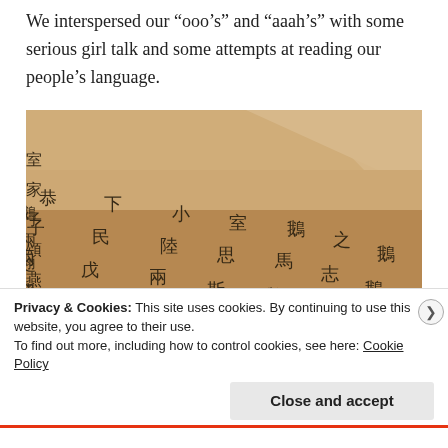We interspersed our “ooo’s” and “aaah’s” with some serious girl talk and some attempts at reading our people’s language.
[Figure (photo): A photo of a handwritten document in Chinese characters on brownish/tan paper, showing vertical columns of calligraphic Chinese script.]
Privacy & Cookies: This site uses cookies. By continuing to use this website, you agree to their use.
To find out more, including how to control cookies, see here: Cookie Policy